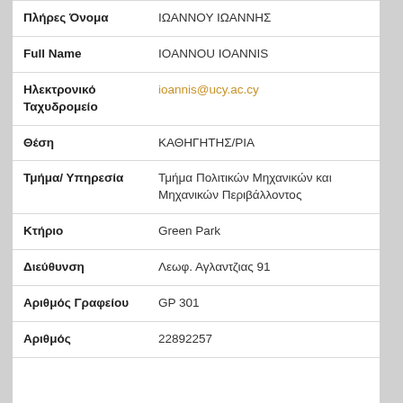| Field | Value |
| --- | --- |
| Πλήρες Όνομα | ΙΩΑΝΝΟΥ ΙΩΑΝΝΗΣ |
| Full Name | IOANNOU IOANNIS |
| Ηλεκτρονικό Ταχυδρομείο | ioannis@ucy.ac.cy |
| Θέση | ΚΑΘΗΓΗΤΗΣ/ΡΙΑ |
| Τμήμα/ Υπηρεσία | Τμήμα Πολιτικών Μηχανικών και Μηχανικών Περιβάλλοντος |
| Κτήριο | Green Park |
| Διεύθυνση | Λεωφ. Αγλαντζιας 91 |
| Αριθμός Γραφείου | GP 301 |
| Αριθμός | 22892257 |